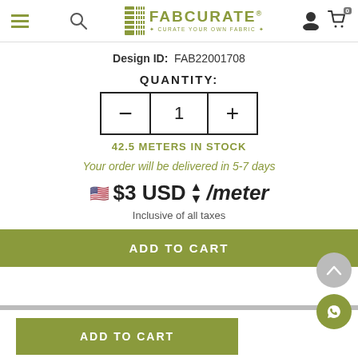FABCURATE · CURATE YOUR OWN FABRIC
Design ID: FAB22001708
QUANTITY:
42.5 METERS IN STOCK
Your order will be delivered in 5-7 days
$3 USD /meter
Inclusive of all taxes
ADD TO CART
ADD TO CART